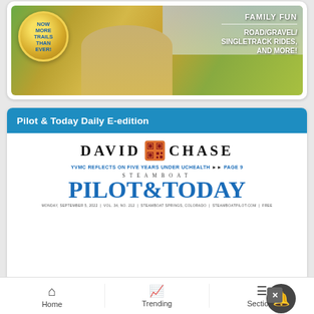[Figure (photo): Advertisement banner showing a nature trail path with yellow wildflowers and greenery. Features a gold medal/badge on the left with text 'NOW MORE TRAILS THAN EVER!' in blue. On the right, white text reads 'FAMILY FUN' with a horizontal line, then 'ROAD/GRAVEL/ SINGLETRACK RIDES, AND MORE!']
Pilot & Today Daily E-edition
[Figure (screenshot): Preview of Steamboat Pilot & Today newspaper e-edition. Shows 'DAVID CHASE' logo at top with a QR-code style red/orange square icon between the words. Below is text 'YVMC REFLECTS ON FIVE YEARS UNDER UCHEALTH >> PAGE 9' in blue. Then 'STEAMBOAT' in small spaced letters, followed by large 'PILOT&TODAY' masthead in blue. Below that is a dateline reading 'MONDAY, September 5, 2022 | Vol. 34, No. 212 | Steamboat Springs, Colorado | SteamboatPilot.com | FREE']
[Figure (photo): Ulta Beauty advertisement banner showing cosmetic products and models with makeup. Features lipstick/lips on left, makeup brushes, eyes with dramatic makeup, Ulta Beauty logo in center white box, more eye close-ups, and 'SHOP NOW' text on right white section.]
Home   Trending   Sections